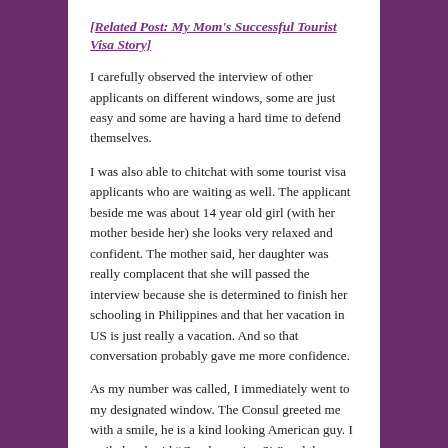[Related Post: My Mom's Successful Tourist Visa Story]
I carefully observed the interview of other applicants on different windows, some are just easy and some are having a hard time to defend themselves.
I was also able to chitchat with some tourist visa applicants who are waiting as well. The applicant beside me was about 14 year old girl (with her mother beside her) she looks very relaxed and confident. The mother said, her daughter was really complacent that she will passed the interview because she is determined to finish her schooling in Philippines and that her vacation in US is just really a vacation. And so that conversation probably gave me more confidence.
As my number was called, I immediately went to my designated window. The Consul greeted me with a smile, he is a kind looking American guy. I smiled and said "Good morning Sir" and then handed my Passport together with Form I-134 Affidavit of Support sponsorship and supporting documents such as Bank